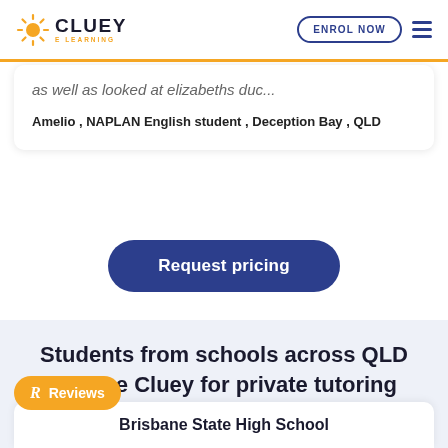CLUEY LEARNING | ENROL NOW
as well as looked at elizabeths duc...
Amelio , NAPLAN English student , Deception Bay , QLD
Request pricing
Students from schools across QLD choose Cluey for private tutoring
Reviews
Brisbane State High School